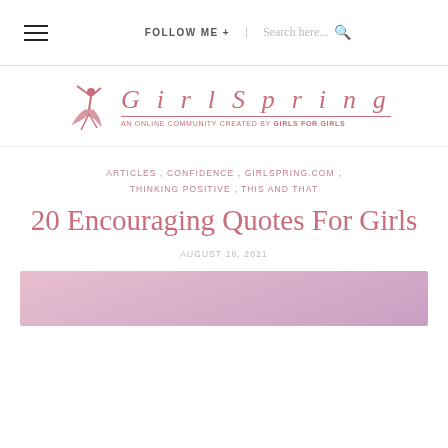≡  FOLLOW ME +  Search here...
[Figure (logo): GirlSpring logo with dancer illustration. Italic spaced text 'G i r l S p r i n g' in pink, with tagline 'AN ONLINE COMMUNITY CREATED BY GIRLS FOR GIRLS']
ARTICLES , CONFIDENCE , GIRLSPRING.COM , THINKING POSITIVE , THIS AND THAT
20 Encouraging Quotes For Girls
AUGUST 16, 2021
[Figure (photo): Pink gradient background image, partially visible at bottom of page]